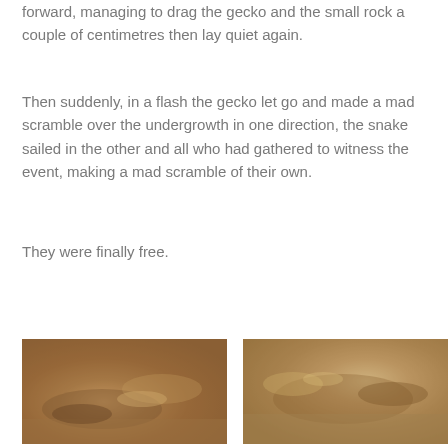forward, managing to drag the gecko and the small rock a couple of centimetres then lay quiet again.
Then suddenly, in a flash the gecko let go and made a mad scramble over the undergrowth in one direction, the snake sailed in the other and all who had gathered to witness the event, making a mad scramble of their own.
They were finally free.
[Figure (photo): Close-up photograph of a gecko or small reptile on rocky/sandy ground, blurred background with earthy brown tones]
[Figure (photo): Close-up photograph of a small reptile or insect on rocky/pebbly ground, blurred background with earthy brown and beige tones]